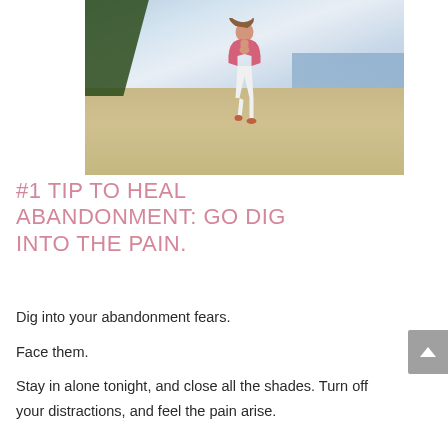[Figure (photo): A woman in a pink top and white pants doing a yoga pose on a beach at dusk, with sandy shore, water, trees on the left, and a cloudy sky in the background.]
#1 TIP TO HEAL ABANDONMENT: GO DIG INTO THE PAIN.
Dig into your abandonment fears.

Face them.

Stay in alone tonight, and close all the shades. Turn off your distractions, and feel the pain arise.